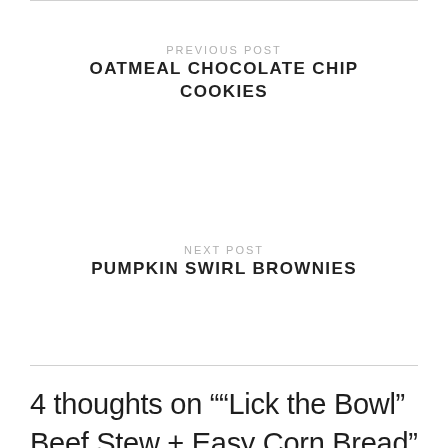PREVIOUS POST
OATMEAL CHOCOLATE CHIP COOKIES
NEXT POST
PUMPKIN SWIRL BROWNIES
4 thoughts on "“Lick the Bowl” Beef Stew + Easy Corn Bread"